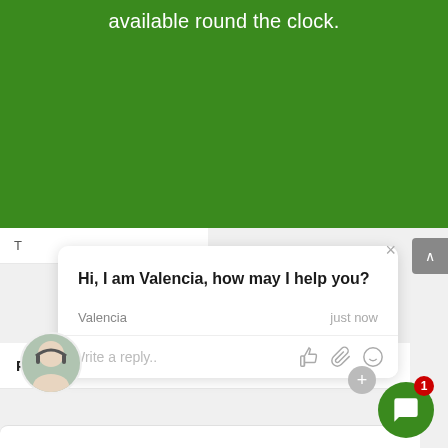available round the clock.
[Figure (screenshot): Chat widget popup showing AI assistant named Valencia with message 'Hi, I am Valencia, how may I help you?' and a reply input box with icons. Background shows a list item 'Payroll Update Error 12xxx Series?' and a green chat circle button with badge count 1.]